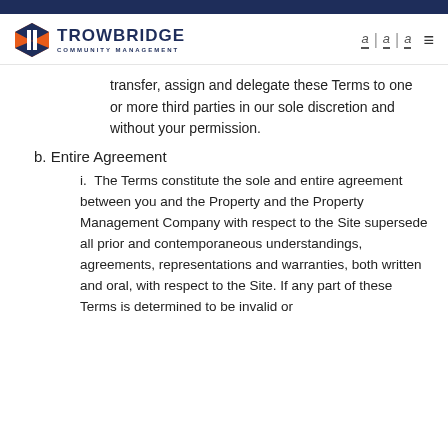Trowbridge Community Management
transfer, assign and delegate these Terms to one or more third parties in our sole discretion and without your permission.
b. Entire Agreement
i. The Terms constitute the sole and entire agreement between you and the Property and the Property Management Company with respect to the Site supersede all prior and contemporaneous understandings, agreements, representations and warranties, both written and oral, with respect to the Site. If any part of these Terms is determined to be invalid or